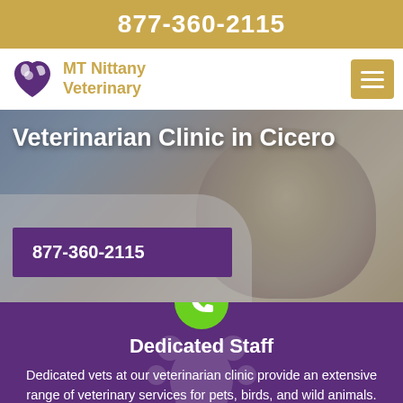877-360-2115
[Figure (logo): MT Nittany Veterinary logo with animal silhouette in a heart shape]
MT Nittany Veterinary
[Figure (photo): Close-up photo of a small tabby kitten being held by a veterinarian in white coat]
Veterinarian Clinic in Cicero
877-360-2115
[Figure (illustration): Green circle with white phone handset icon (call button)]
Dedicated Staff
Dedicated vets at our veterinarian clinic provide an extensive range of veterinary services for pets, birds, and wild animals.